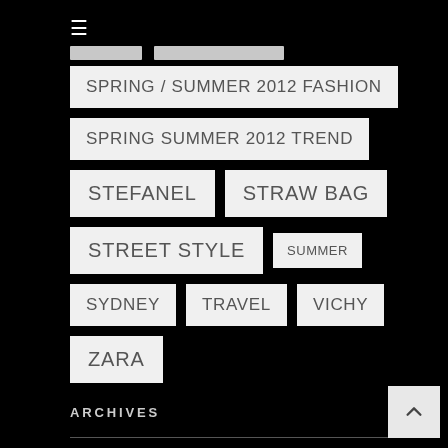SPRING / SUMMER 2012 FASHION
SPRING SUMMER 2012 TREND
STEFANEL
STRAW BAG
STREET STYLE
SUMMER
SYDNEY
TRAVEL
VICHY
ZARA
ARCHIVES